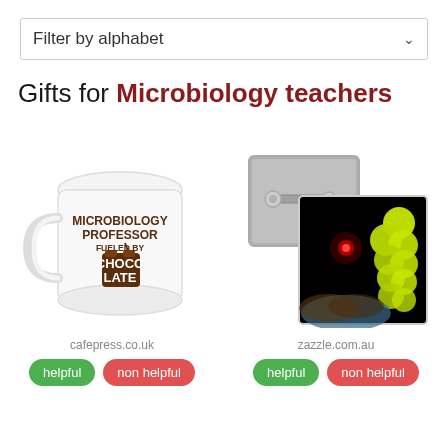Filter by alphabet
Gifts for Microbiology teachers
[Figure (illustration): A white ceramic mug with 'MICROBIOLOGY PROFESSOR FUELED BY CHOCOLATE' text and a chocolate pouring illustration]
cafepress.co.uk
[Figure (illustration): A square pin/badge showing its back (gray, with pin mechanism) overlapping a colorful image of yellow-green MRSA bacteria cells on a dark background]
zazzle.com.au